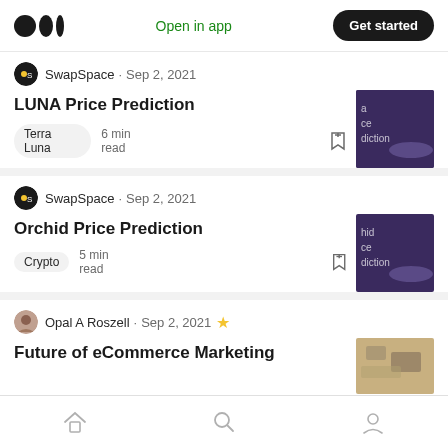Medium logo | Open in app | Get started
SwapSpace · Sep 2, 2021
LUNA Price Prediction
Terra Luna   6 min read
SwapSpace · Sep 2, 2021
Orchid Price Prediction
Crypto   5 min read
Opal A Roszell · Sep 2, 2021 ★
Future of eCommerce Marketing
Home | Search | Profile